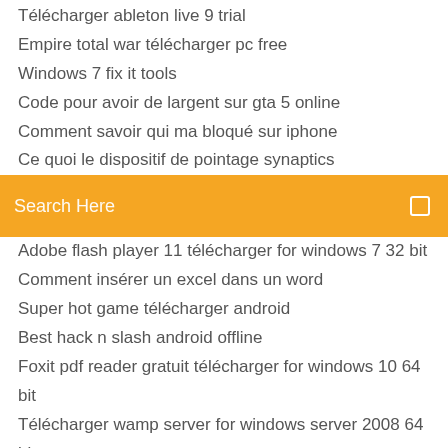Télécharger ableton live 9 trial
Empire total war télécharger pc free
Windows 7 fix it tools
Code pour avoir de largent sur gta 5 online
Comment savoir qui ma bloqué sur iphone
Ce quoi le dispositif de pointage synaptics
[Figure (screenshot): Orange search bar with text 'Search Here' and a search icon on the right]
Adobe flash player 11 télécharger for windows 7 32 bit
Comment insérer un excel dans un word
Super hot game télécharger android
Best hack n slash android offline
Foxit pdf reader gratuit télécharger for windows 10 64 bit
Télécharger wamp server for windows server 2008 64 bit
Comment revenir à la ligne dans une cellule sur excel
Jeu fifa sur pc gratuit
Old and New Version of Malwarebytes Anti-Malware -